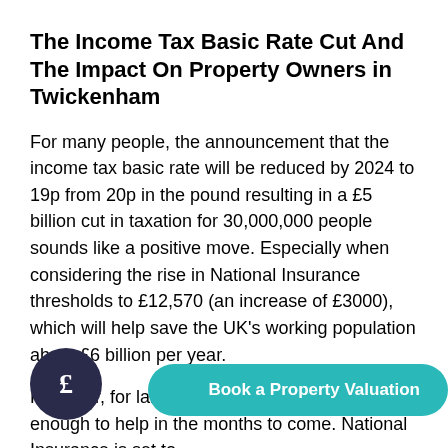The Income Tax Basic Rate Cut And The Impact On Property Owners in Twickenham
For many people, the announcement that the income tax basic rate will be reduced by 2024 to 19p from 20p in the pound resulting in a £5 billion cut in taxation for 30,000,000 people sounds like a positive move. Especially when considering the rise in National Insurance thresholds to £12,570 (an increase of £3000), which will help save the UK's working population about £6 billion per year.
However, for landlords, the news may not be enough to help in the months to come. National Insurance is set to